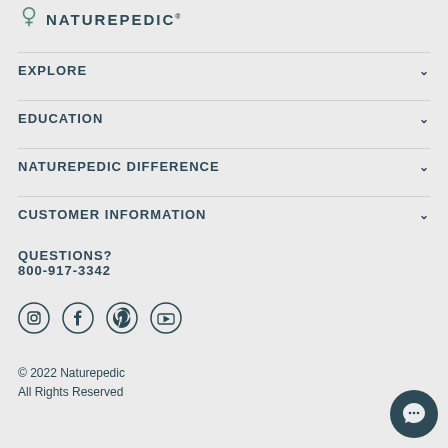NATUREPEDIC
EXPLORE
EDUCATION
NATUREPEDIC DIFFERENCE
CUSTOMER INFORMATION
QUESTIONS?
800-917-3342
[Figure (other): Social media icons: Instagram, Facebook, Pinterest, YouTube]
© 2022 Naturepedic
All Rights Reserved
[Figure (other): Chat button circle icon]